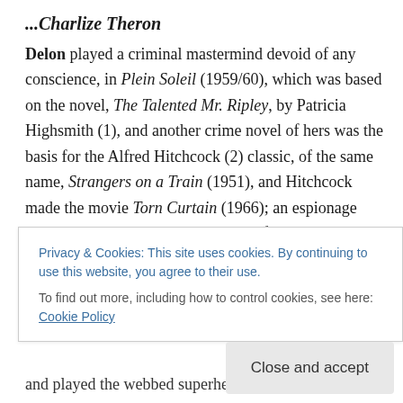...Charlize Theron
Delon played a criminal mastermind devoid of any conscience, in Plein Soleil (1959/60), which was based on the novel, The Talented Mr. Ripley, by Patricia Highsmith (1), and another crime novel of hers was the basis for the Alfred Hitchcock (2) classic, of the same name, Strangers on a Train (1951), and Hitchcock made the movie Torn Curtain (1966); an espionage thriller set beyond the Iron Curtain of East Germany; starring Julie Andrews (3), who starred in the musical, based on a true life story that took place in Austria, The Sound of Music (1965), which also
Privacy & Cookies: This site uses cookies. By continuing to use this website, you agree to their use.
To find out more, including how to control cookies, see here: Cookie Policy
Close and accept
and played the webbed superhero, in a more skin-tight